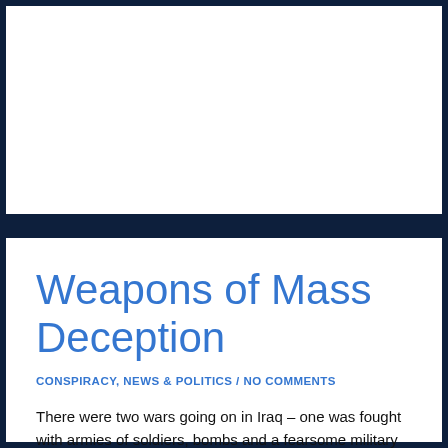[Figure (photo): White rectangular image area at the top of the page, framed with dark navy border — appears to be a placeholder or image not visible in scan]
Weapons of Mass Deception
CONSPIRACY, NEWS & POLITICS / NO COMMENTS
There were two wars going on in Iraq – one was fought with armies of soldiers, bombs and a fearsome military